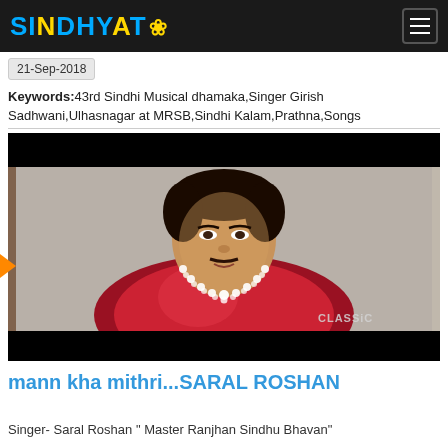SINDHYAT
21-Sep-2018
Keywords:43rd Sindhi Musical dhamaka,Singer Girish Sadhwani,Ulhasnagar at MRSB,Sindhi Kalam,Prathna,Songs
[Figure (photo): Portrait photograph of Saral Roshan wearing a red satin shirt and pearl necklace, with 'CLASSiC' watermark in bottom right corner. Image has black bars at top and bottom.]
mann kha mithri...SARAL ROSHAN
Singer- Saral Roshan " Master Ranjhan Sindhu Bhavan"